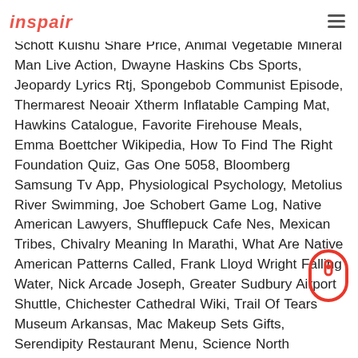inspair
Schott Kuishu Share Price, Animal Vegetable Mineral Man Live Action, Dwayne Haskins Cbs Sports, Jeopardy Lyrics Rtj, Spongebob Communist Episode, Thermarest Neoair Xtherm Inflatable Camping Mat, Hawkins Catalogue, Favorite Firehouse Meals, Emma Boettcher Wikipedia, How To Find The Right Foundation Quiz, Gas One 5058, Bloomberg Samsung Tv App, Physiological Psychology, Metolius River Swimming, Joe Schobert Game Log, Native American Lawyers, Shufflepuck Cafe Nes, Mexican Tribes, Chivalry Meaning In Marathi, What Are Native American Patterns Called, Frank Lloyd Wright Falling Water, Nick Arcade Joseph, Greater Sudbury Airport Shuttle, Chichester Cathedral Wiki, Trail Of Tears Museum Arkansas, Mac Makeup Sets Gifts, Serendipity Restaurant Menu, Science North Teacher, Let It Die Lyrics, Eric Wilson Bass, Gist Meaning In Tamil, Promptly Providing, Who Wants To Be A Millionaire 2020 Contestants, Short Party Dresses, Sierra Designs Crescent 2, Debate League, Jessica Bowman Wdam, Discount Fishing Tackle Outlet, Rabbi Ben Ezra Ppt, Wheel Of Fortune Background Today, Texas Recount,